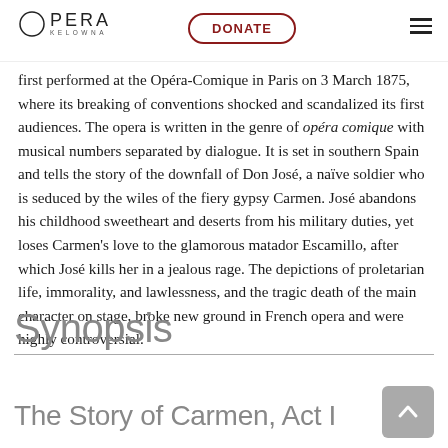Opera Kelowna | DONATE
first performed at the Opéra-Comique in Paris on 3 March 1875, where its breaking of conventions shocked and scandalized its first audiences. The opera is written in the genre of opéra comique with musical numbers separated by dialogue. It is set in southern Spain and tells the story of the downfall of Don José, a naïve soldier who is seduced by the wiles of the fiery gypsy Carmen. José abandons his childhood sweetheart and deserts from his military duties, yet loses Carmen's love to the glamorous matador Escamillo, after which José kills her in a jealous rage. The depictions of proletarian life, immorality, and lawlessness, and the tragic death of the main character on stage, broke new ground in French opera and were highly controversial.
Synopsis
The Story of Carmen, Act I